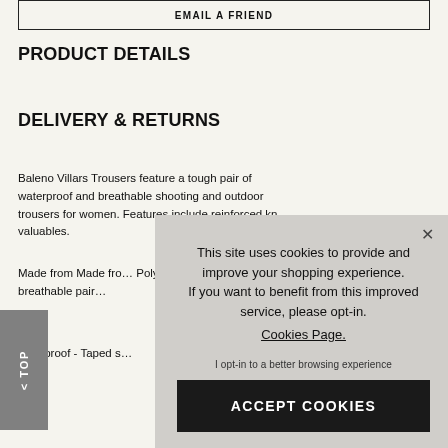EMAIL A FRIEND
PRODUCT DETAILS
DELIVERY & RETURNS
Baleno Villars Trousers feature a tough pair of waterproof and breathable shooting and outdoor trousers for women. Features include reinforced kn… valuables.
Made from Made fro… Polyamide with a 10… and breathable pair…
Windproof - Taped s…
This site uses cookies to provide and improve your shopping experience. If you want to benefit from this improved service, please opt-in. Cookies Page.
I opt-in to a better browsing experience
ACCEPT COOKIES